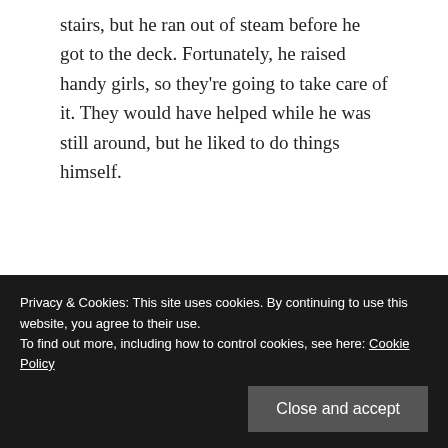stairs, but he ran out of steam before he got to the deck. Fortunately, he raised handy girls, so they're going to take care of it. They would have helped while he was still around, but he liked to do things himself.
★ Liked by 1 person
Ally Bean
Privacy & Cookies: This site uses cookies. By continuing to use this website, you agree to their use. To find out more, including how to control cookies, see here: Cookie Policy
Close and accept